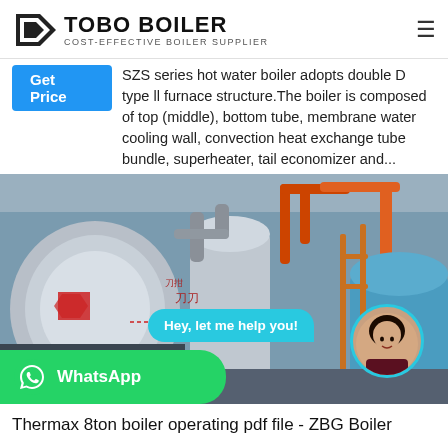TOBO BOILER — COST-EFFECTIVE BOILER SUPPLIER
SZS series hot water boiler adopts double D type ll furnace structure.The boiler is composed of top (middle), bottom tube, membrane water cooling wall, convection heat exchange tube bundle, superheater, tail economizer and...
[Figure (photo): Industrial boiler facility showing large cylindrical boilers, pipes and equipment, with a chat bubble saying 'Hey, let me help you!' and a WhatsApp button overlay.]
Thermax 8ton boiler operating pdf file - ZBG Boiler